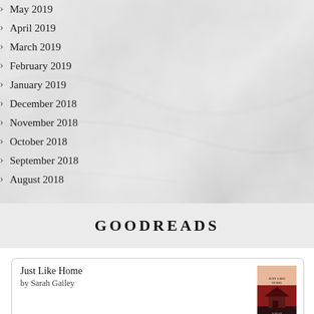May 2019
April 2019
March 2019
February 2019
January 2019
December 2018
November 2018
October 2018
September 2018
August 2018
GOODREADS
Just Like Home
by Sarah Gailey
Into the Riverlands